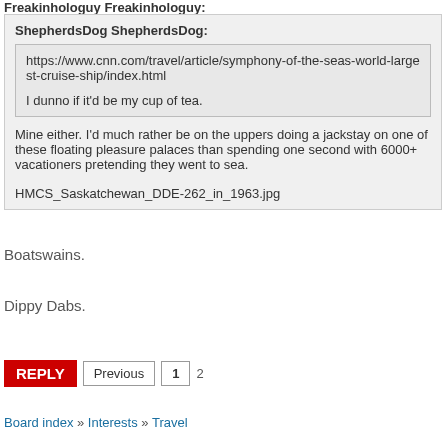Freakinhologuy Freakinhologuy:
ShepherdsDog ShepherdsDog:
https://www.cnn.com/travel/article/symphony-of-the-seas-world-largest-cruise-ship/index.html

I dunno if it'd be my cup of tea.
Mine either. I'd much rather be on the uppers doing a jackstay on one of these floating pleasure palaces than spending one second with 6000+ vacationers pretending they went to sea.
HMCS_Saskatchewan_DDE-262_in_1963.jpg
Boatswains.
Dippy Dabs.
REPLY  Previous  1  2
Board index » Interests » Travel